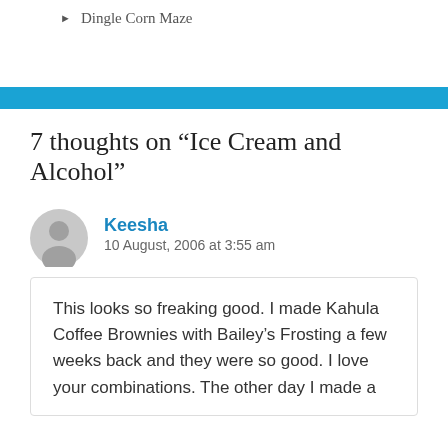Dingle Corn Maze
7 thoughts on “Ice Cream and Alcohol”
Keesha
10 August, 2006 at 3:55 am
This looks so freaking good. I made Kahula Coffee Brownies with Bailey’s Frosting a few weeks back and they were so good. I love your combinations. The other day I made a